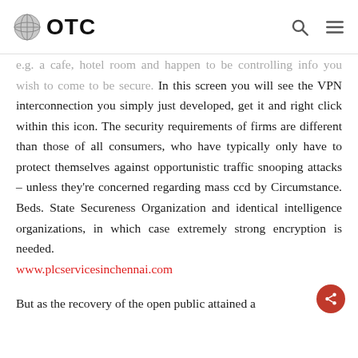OTC
e.g. a cafe, hotel room and happen to be controlling info you wish to come to be secure. In this screen you will see the VPN interconnection you simply just developed, get it and right click within this icon. The security requirements of firms are different than those of all consumers, who have typically only have to protect themselves against opportunistic traffic snooping attacks – unless they're concerned regarding mass ccd by Circumstance. Beds. State Secureness Organization and identical intelligence organizations, in which case extremely strong encryption is needed.
www.plcservicesinchennai.com

But as the recovery of the open public attained a